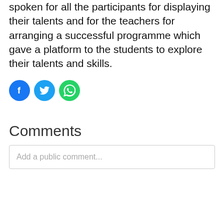spoken for all the participants for displaying their talents and for the teachers for arranging a successful programme which gave a platform to the students to explore their talents and skills.
[Figure (infographic): Three social media share icons: Facebook (blue circle with f logo), Twitter (light blue circle with bird logo), WhatsApp (green circle with phone/message logo)]
Comments
Add a public comment...